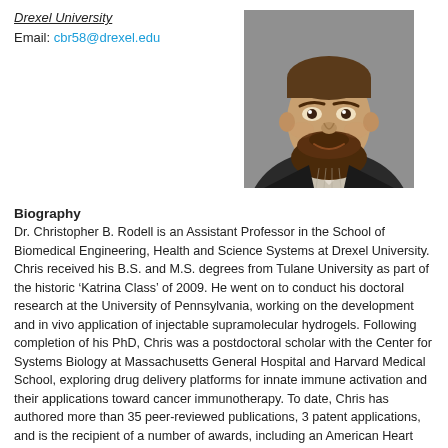Drexel University
Email: cbr58@drexel.edu
[Figure (photo): Headshot photo of Dr. Christopher B. Rodell, a bearded man in a suit jacket]
Biography
Dr. Christopher B. Rodell is an Assistant Professor in the School of Biomedical Engineering, Health and Science Systems at Drexel University. Chris received his B.S. and M.S. degrees from Tulane University as part of the historic ‘Katrina Class’ of 2009. He went on to conduct his doctoral research at the University of Pennsylvania, working on the development and in vivo application of injectable supramolecular hydrogels. Following completion of his PhD, Chris was a postdoctoral scholar with the Center for Systems Biology at Massachusetts General Hospital and Harvard Medical School, exploring drug delivery platforms for innate immune activation and their applications toward cancer immunotherapy. To date, Chris has authored more than 35 peer-reviewed publications, 3 patent applications, and is the recipient of a number of awards, including an American Heart Association Predoctoral Fellowship, a Materials Research Society Gold Award, and the Solomon R. Pollack Award for excellence in graduate